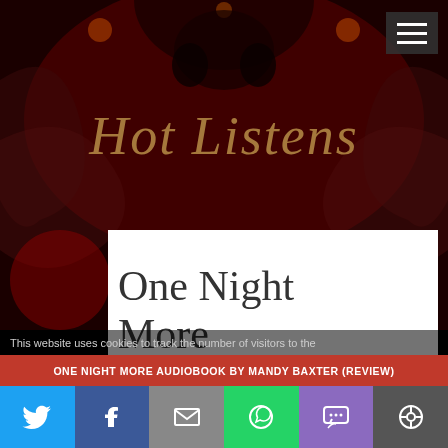[Figure (illustration): Dark red and black smoky fantasy background with symmetric mirrored patterns, used as website header]
Hot Listens
[Figure (screenshot): Hamburger menu icon (three horizontal white lines) on dark grey semi-transparent background]
One Night More Audiobook
This website uses cookies to track the number of visitors to the
ONE NIGHT MORE AUDIOBOOK BY MANDY BAXTER (REVIEW)
If you wish...   Accept   PRIVACY POLICY   This blog is for
Risk It All Audiobook by
Nethe
[Figure (screenshot): Social sharing bar with Twitter, Facebook, Email, WhatsApp, SMS, and More buttons]